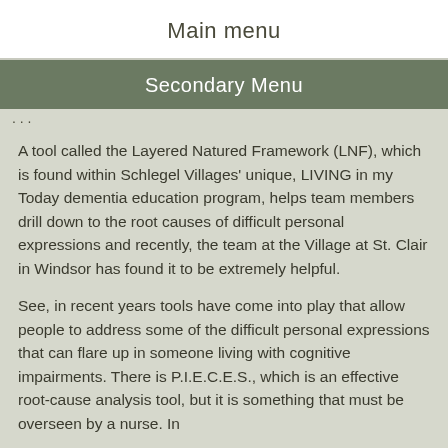Main menu
Secondary Menu
A tool called the Layered Natured Framework (LNF), which is found within Schlegel Villages' unique, LIVING in my Today dementia education program, helps team members drill down to the root causes of difficult personal expressions and recently, the team at the Village at St. Clair in Windsor has found it to be extremely helpful.
See, in recent years tools have come into play that allow people to address some of the difficult personal expressions that can flare up in someone living with cognitive impairments. There is P.I.E.C.E.S., which is an effective root-cause analysis tool, but it is something that must be overseen by a nurse. In